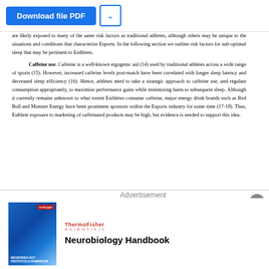Download file PDF
are likely exposed to many of the same risk factors as traditional athletes, although others may be unique to the situations and conditions that characterize Esports. In the following section we outline risk factors for sub-optimal sleep that may be pertinent to Esthletes.
Caffeine use. Caffeine is a well-known ergogenic aid (14) used by traditional athletes across a wide range of sports (15). However, increased caffeine levels post-match have been correlated with longer sleep latency and decreased sleep efficiency (16). Hence, athletes need to take a strategic approach to caffeine use, and regulate consumption appropriately, to maximize performance gains while minimizing harm to subsequent sleep. Although it currently remains unknown to what extent Esthletes consume caffeine, major energy drink brands such as Red Bull and Monster Energy have been prominent sponsors within the Esports industry for some time (17-18). Thus, Esthlete exposure to marketing of caffeinated products may be high, but evidence is needed to support this idea.
Advertisement
[Figure (other): Advertisement for ThermoFisher Scientific Neurobiology Handbook, showing a book cover with a neuron image on a blue background.]
Neurobiology Handbook